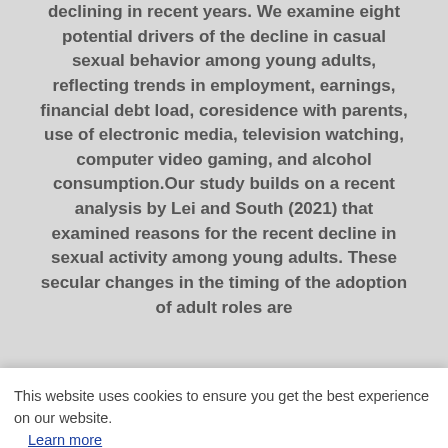declining in recent years. We examine eight potential drivers of the decline in casual sexual behavior among young adults, reflecting trends in employment, earnings, financial debt load, coresidence with parents, use of electronic media, television watching, computer video gaming, and alcohol consumption.Our study builds on a recent analysis by Lei and South (2021) that examined reasons for the recent decline in sexual activity among young adults. These secular changes in the timing of the adoption of adult roles are
This website uses cookies to ensure you get the best experience on our website. Learn more
(Owen, Finchan, and Moore 2011), It is possible that